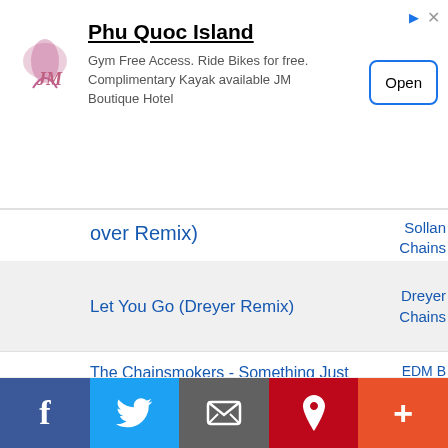[Figure (screenshot): Advertisement banner for Phu Quoc Island / JM Boutique Hotel with logo, text, and Open button]
...over Remix)
Let You Go (Dreyer Remix)
The Chainsmokers - Something Just Like This (EDM BOBBY Remix)
[Figure (screenshot): Social sharing bar with Facebook, Twitter, Email, Pinterest, and More buttons]